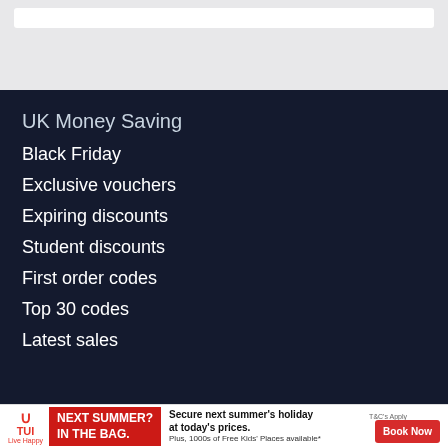UK Money Saving
Black Friday
Exclusive vouchers
Expiring discounts
Student discounts
First order codes
Top 30 codes
Latest sales
[Figure (infographic): TUI advertisement banner: TUI Live Happy logo, red box text NEXT SUMMER? IN THE BAG., text Secure next summer's holiday at today's prices. Plus, 1000s of Free Kids' Places available*, Book Now button, T&C's Apply]